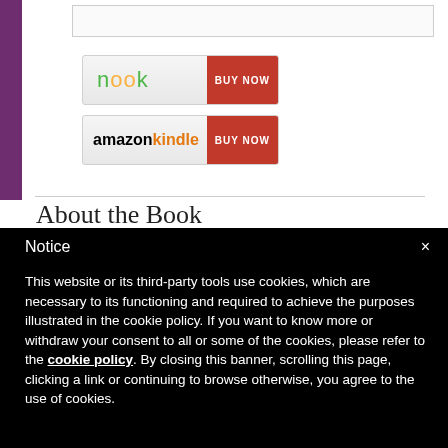[Figure (screenshot): Nook BUY NOW button with gradient background and red button]
[Figure (screenshot): Amazon Kindle BUY NOW button with gradient background and red button]
About the Book
Notice
This website or its third-party tools use cookies, which are necessary to its functioning and required to achieve the purposes illustrated in the cookie policy. If you want to know more or withdraw your consent to all or some of the cookies, please refer to the cookie policy. By closing this banner, scrolling this page, clicking a link or continuing to browse otherwise, you agree to the use of cookies.